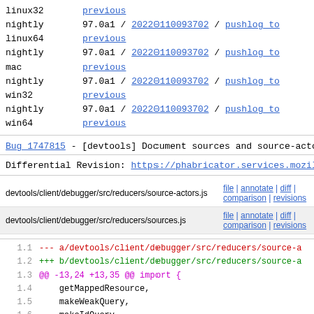linux32 previous nightly linux64 97.0a1 / 20220110093702 / pushlog to previous nightly mac 97.0a1 / 20220110093702 / pushlog to previous nightly win32 97.0a1 / 20220110093702 / pushlog to previous nightly win64 97.0a1 / 20220110093702 / pushlog to previous
Bug 1747815 - [devtools] Document sources and source-actors
Differential Revision: https://phabricator.services.mozilla.
| File | Links |
| --- | --- |
| devtools/client/debugger/src/reducers/source-actors.js | file | annotate | diff | comparison | revisions |
| devtools/client/debugger/src/reducers/sources.js | file | annotate | diff | comparison | revisions |
1.1  --- a/devtools/client/debugger/src/reducers/source-
1.2  +++ b/devtools/client/debugger/src/reducers/source-
1.3  @@ -13,24 +13,35 @@ import {
1.4      getMappedResource,
1.5      makeWeakQuery,
1.6      makeIdQuery,
1.7      makeReduceAllQuery,
1.8  } from "../utils/resource";
1.9  
1.10     import { asyncActionAsValue } from "../actions/uti
1.11